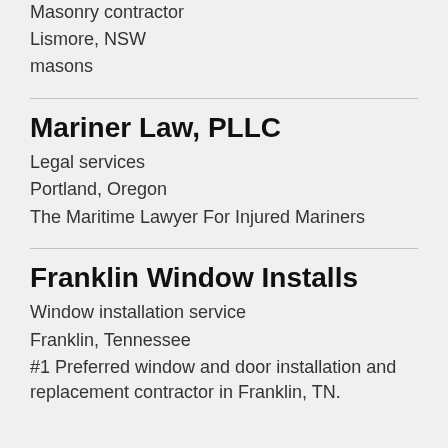Masonry contractor
Lismore, NSW
masons
Mariner Law, PLLC
Legal services
Portland, Oregon
The Maritime Lawyer For Injured Mariners
Franklin Window Installs
Window installation service
Franklin, Tennessee
#1 Preferred window and door installation and replacement contractor in Franklin, TN.